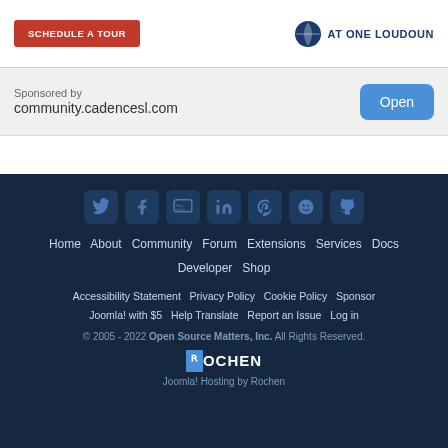[Figure (other): Advertisement banner with 'SCHEDULE A TOUR' red button and 'AT ONE LOUDOUN' logo with globe icon]
Sponsored by
community.cadencesl.com
Open
[Figure (other): Website footer with social media icons (Twitter, Facebook, YouTube, LinkedIn, Pinterest, Reddit/Imgur, GitHub), navigation links, policy links, copyright notice, and Rochen logo]
Home  About  Community  Forum  Extensions  Services  Docs  Developer  Shop  Accessibility Statement  Privacy Policy  Cookie Policy  Sponsor  Joomla! with $5  Help Translate  Report an Issue  Log in  © 2005 - 2022 Open Source Matters, Inc. All Rights Reserved.  ROCHEN  Joomla! Hosting by Rochen